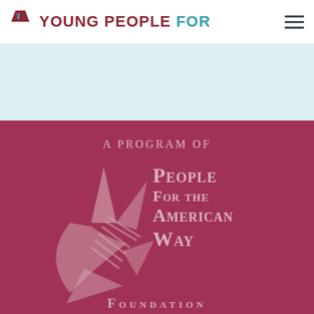Young People For
[Figure (logo): Young People For logo with chevron/checkmark icon in dark red, text 'YOUNG PEOPLE FOR' with 'FOR' in teal, and hamburger menu icon in top navigation bar]
[Figure (logo): People For the American Way Foundation logo — stylized star/lily graphic in muted rose/pink on dark rose background, with text 'A Program of People For the American Way Foundation']
A Program of
People For the American Way Foundation